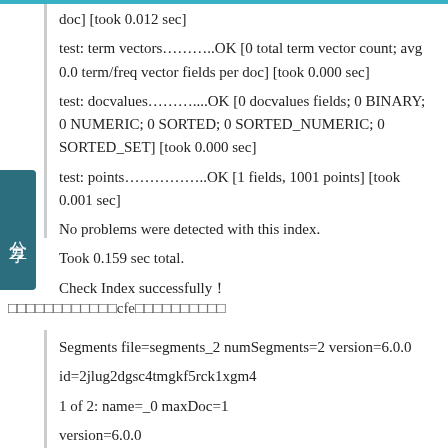doc] [took 0.012 sec]
test: term vectors………..OK [0 total term vector count; avg 0.0 term/freq vector fields per doc] [took 0.000 sec]
test: docvalues………....OK [0 docvalues fields; 0 BINARY; 0 NUMERIC; 0 SORTED; 0 SORTED_NUMERIC; 0 SORTED_SET] [took 0.000 sec]
test: points…………….OK [1 fields, 1001 points] [took 0.001 sec]
No problems were detected with this index.
Took 0.159 sec total.
Check Index successfully！
□□□□□□□□□□□□cfe□□□□□□□□□□
Segments file=segments_2 numSegments=2 version=6.0.0
id=2jlug2dgsc4tmgkf5rck1xgm4
1 of 2: name=_0 maxDoc=1
version=6.0.0